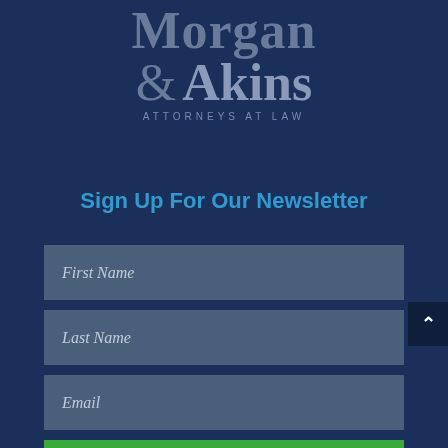[Figure (logo): Morgan & Akins Attorneys at Law law firm logo with text on dark navy background]
Sign Up For Our Newsletter
First Name
Last Name
Email
SUBSCRIBE